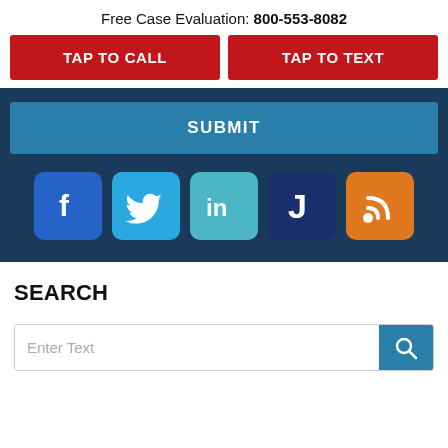Free Case Evaluation: 800-553-8082
TAP TO CALL
TAP TO TEXT
SUBMIT
[Figure (other): Social media icons: Facebook, Twitter, LinkedIn, Justia (J), RSS feed]
SEARCH
Enter Text